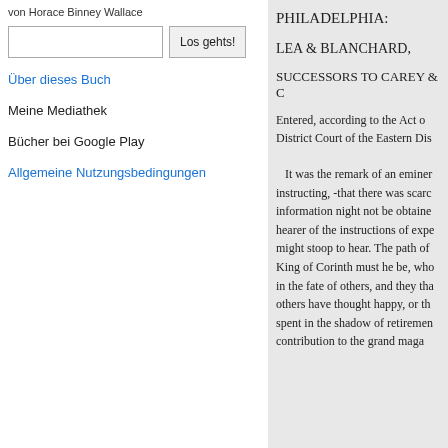von Horace Binney Wallace
Los gehts! [search button]
Über dieses Buch
Meine Mediathek
Bücher bei Google Play
Allgemeine Nutzungsbedingungen
PHILADELPHIA:
LEA & BLANCHARD,
SUCCESSORS TO CAREY & C
Entered, according to the Act o District Court of the Eastern Dis
It was the remark of an eminer instructing, -that there was scarc information night not be obtaine hearer of the instructions of expe might stoop to hear. The path of King of Corinth must he be, who in the fate of others, and they tha others have thought happy, or th spent in the shadow of retiremen contribution to the grand maga